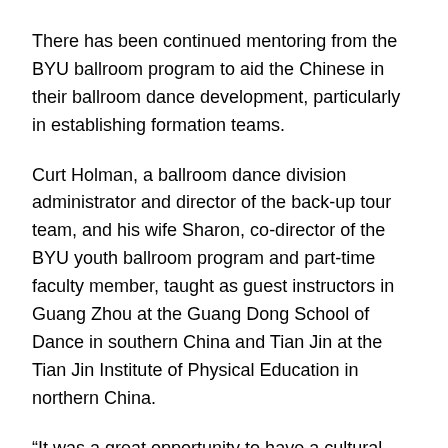There has been continued mentoring from the BYU ballroom program to aid the Chinese in their ballroom dance development, particularly in establishing formation teams.
Curt Holman, a ballroom dance division administrator and director of the back-up tour team, and his wife Sharon, co-director of the BYU youth ballroom program and part-time faculty member, taught as guest instructors in Guang Zhou at the Guang Dong School of Dance in southern China and Tian Jin at the Tian Jin Institute of Physical Education in northern China.
“It was a great opportunity to have a cultural exchange because our approach to teaching is so different.” Curt Holman said. “There was such great admiration for BYU.”
For some reason ballroom dance has exploded in China, and